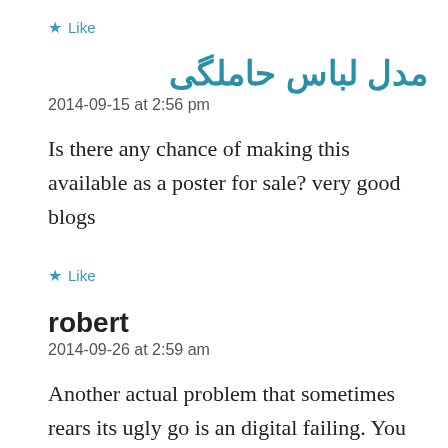★ Like
مدل لباس حاملگی
2014-09-15 at 2:56 pm
Is there any chance of making this available as a poster for sale? very good blogs
★ Like
robert
2014-09-26 at 2:59 am
Another actual problem that sometimes rears its ugly go is an digital failing. You may listen to a